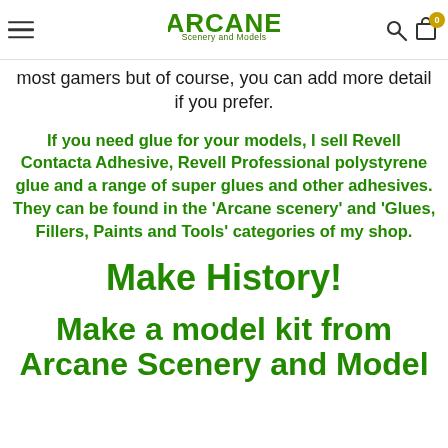ARCANE Scenery and Models
most gamers but of course, you can add more detail if you prefer.
If you need glue for your models, I sell Revell Contacta Adhesive, Revell Professional polystyrene glue and a range of super glues and other adhesives. They can be found in the ‘Arcane scenery’ and ‘Glues, Fillers, Paints and Tools’ categories of my shop.
Make History!
Make a model kit from Arcane Scenery and Model